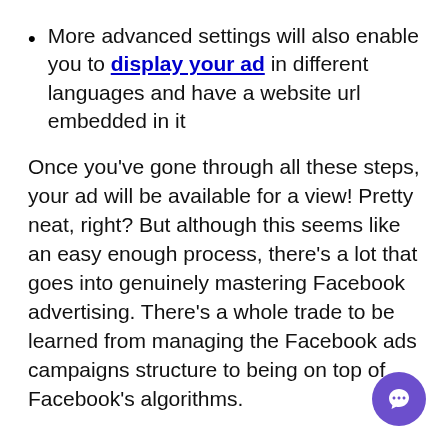More advanced settings will also enable you to display your ad in different languages and have a website url embedded in it
Once you've gone through all these steps, your ad will be available for a view! Pretty neat, right? But although this seems like an easy enough process, there's a lot that goes into genuinely mastering Facebook advertising. There's a whole trade to be learned from managing the Facebook ads campaigns structure to being on top of Facebook's algorithms.